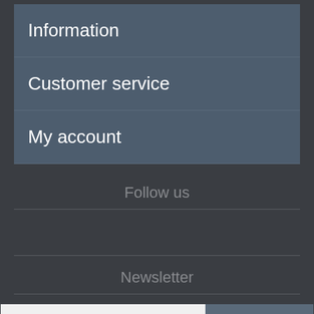Information
Customer service
My account
Follow us
Newsletter
Enter your email here... SUBSCRIBE